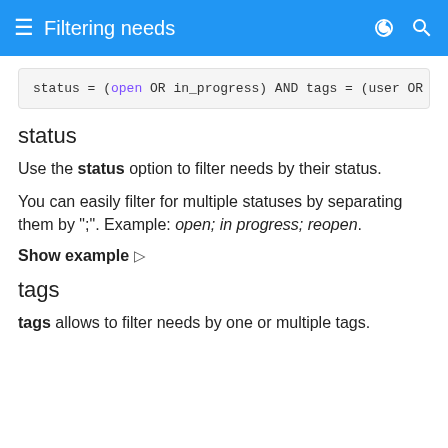Filtering needs
status
Use the status option to filter needs by their status.
You can easily filter for multiple statuses by separating them by ";". Example: open; in progress; reopen.
Show example ▷
tags
tags allows to filter needs by one or multiple tags.